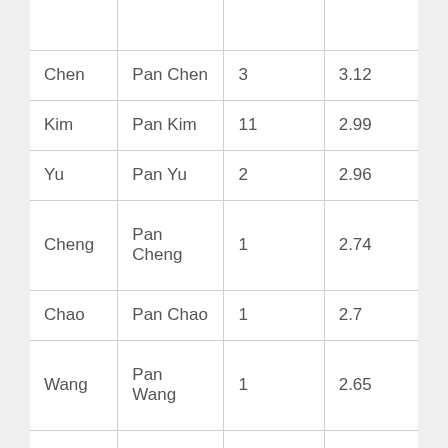| Chen | Pan Chen | 3 | 3.12 |
| Kim | Pan Kim | 11 | 2.99 |
| Yu | Pan Yu | 2 | 2.96 |
| Cheng | Pan Cheng | 1 | 2.74 |
| Chao | Pan Chao | 1 | 2.7 |
| Wang | Pan Wang | 1 | 2.65 |
| Yi | Pan Yi | 1 | 2.53 |
| Chong | Pan ... | 1 | 2.45 |